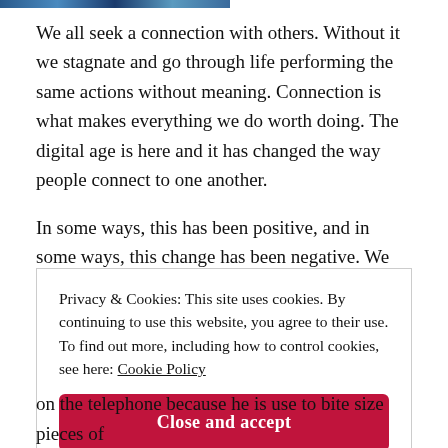[Figure (photo): Partial image visible at top of page, appears to be a banner photo with blue tones]
We all seek a connection with others. Without it we stagnate and go through life performing the same actions without meaning. Connection is what makes everything we do worth doing. The digital age is here and it has changed the way people connect to one another.
In some ways, this has been positive, and in some ways, this change has been negative. We start relationships, friendships and
Privacy & Cookies: This site uses cookies. By continuing to use this website, you agree to their use.
To find out more, including how to control cookies, see here: Cookie Policy
Close and accept
on the telephone because he is use to bite size pieces of